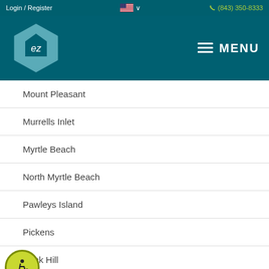Login / Register  🇺🇸 ∨   (843) 350-8333
[Figure (logo): EZ home logo — hexagon shape in teal with 'ez' text, on dark teal header with MENU hamburger icon]
Mount Pleasant
Murrells Inlet
Myrtle Beach
North Myrtle Beach
Pawleys Island
Pickens
Rock Hill
Spartanburg